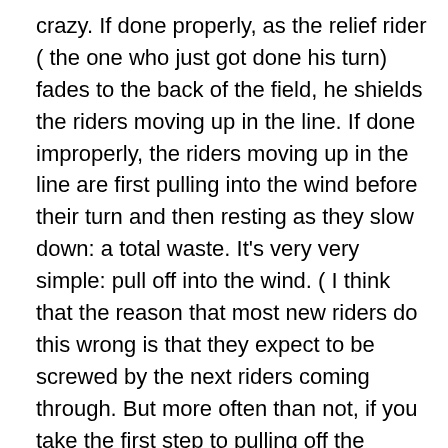crazy. If done properly, as the relief rider ( the one who just got done his turn) fades to the back of the field, he shields the riders moving up in the line. If done improperly, the riders moving up in the line are first pulling into the wind before their turn and then resting as they slow down: a total waste. It's very very simple: pull off into the wind. ( I think that the reason that most new riders do this wrong is that they expect to be screwed by the next riders coming through. But more often than not, if you take the first step to pulling off the proper way, all other riders will follow)
b) DO NOT ACCELERATE – The lead rider should pull off or signal the second rider to come through and then the lead rider should SLIGHTLY decelerate. The second rider should maintain pace. It's the lead rider ending his turn